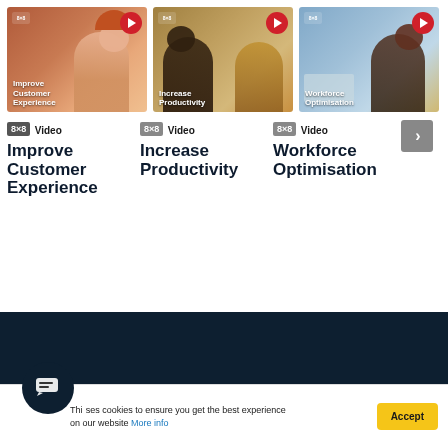[Figure (screenshot): Three video thumbnail cards in a row. Card 1: 'Improve Customer Experience' with red play button and 8x8 logo. Card 2: 'Increase Productivity' with red play button and 8x8 logo. Card 3: 'Workforce Optimisation' with red play button and 8x8 logo.]
8×8 Video
Improve Customer Experience
8×8 Video
Increase Productivity
8×8 Video
Workforce Optimisation
[Figure (other): Dark navy footer section at the bottom of the page.]
This site uses cookies to ensure you get the best experience on our website More info
Accept